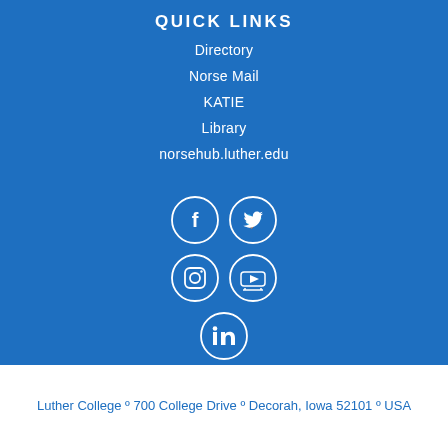QUICK LINKS
Directory
Norse Mail
KATIE
Library
norsehub.luther.edu
[Figure (infographic): Social media icons in white circles on blue background: Facebook, Twitter, Instagram, YouTube, LinkedIn]
Luther College º 700 College Drive º Decorah, Iowa 52101 º USA